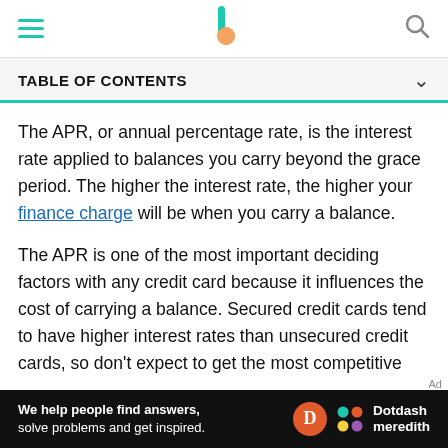TABLE OF CONTENTS
The APR, or annual percentage rate, is the interest rate applied to balances you carry beyond the grace period. The higher the interest rate, the higher your finance charge will be when you carry a balance.
The APR is one of the most important deciding factors with any credit card because it influences the cost of carrying a balance. Secured credit cards tend to have higher interest rates than unsecured credit cards, so don't expect to get the most competitive rate. You can avoid paying interest on your balance by paying it in full every month.
We help people find answers, solve problems and get inspired. Dotdash meredith